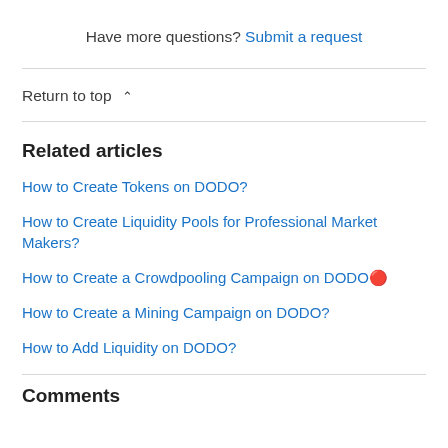Have more questions? Submit a request
Return to top ∧
Related articles
How to Create Tokens on DODO?
How to Create Liquidity Pools for Professional Market Makers?
How to Create a Crowdpooling Campaign on DODO🔴
How to Create a Mining Campaign on DODO?
How to Add Liquidity on DODO?
Comments